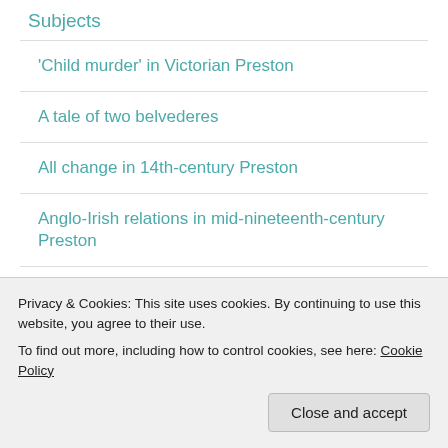Subjects
'Child murder' in Victorian Preston
A tale of two belvederes
All change in 14th-century Preston
Anglo-Irish relations in mid-nineteenth-century Preston
Barley, beer and the Lancaster Canal
Conflicted sexuality in Edwardian Preston
Privacy & Cookies: This site uses cookies. By continuing to use this website, you agree to their use.
To find out more, including how to control cookies, see here: Cookie Policy
Standards